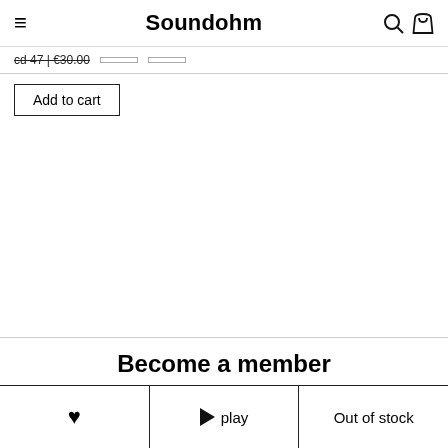Soundohm
cd 47 | €30.00
Add to cart
Become a member
❤  ▶ play  Out of stock